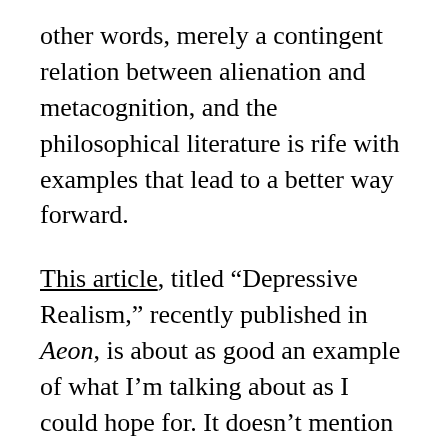other words, merely a contingent relation between alienation and metacognition, and the philosophical literature is rife with examples that lead to a better way forward.
This article, titled “Depressive Realism,” recently published in Aeon, is about as good an example of what I’m talking about as I could hope for. It doesn’t mention metacognition by name, but the idea is similar. Needless to say, I’m not convinced this is a good way of thinking. The article is ostensibly about how depression may give us better access to “the real” than other emotions, like